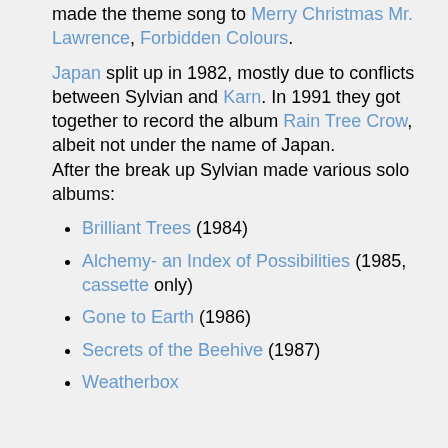made the theme song to Merry Christmas Mr. Lawrence, Forbidden Colours.
Japan split up in 1982, mostly due to conflicts between Sylvian and Karn. In 1991 they got together to record the album Rain Tree Crow, albeit not under the name of Japan. After the break up Sylvian made various solo albums:
Brilliant Trees (1984)
Alchemy- an Index of Possibilities (1985, cassette only)
Gone to Earth (1986)
Secrets of the Beehive (1987)
Weatherbox